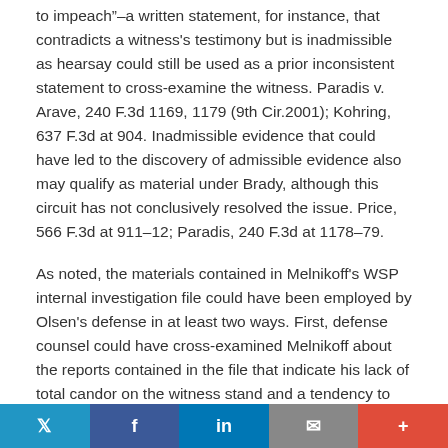to impeach”–a written statement, for instance, that contradicts a witness's testimony but is inadmissible as hearsay could still be used as a prior inconsistent statement to cross-examine the witness. Paradis v. Arave, 240 F.3d 1169, 1179 (9th Cir.2001); Kohring, 637 F.3d at 904. Inadmissible evidence that could have led to the discovery of admissible evidence also may qualify as material under Brady, although this circuit has not conclusively resolved the issue. Price, 566 F.3d at 911–12; Paradis, 240 F.3d at 1178–79.
As noted, the materials contained in Melnikoff's WSP internal investigation file could have been employed by Olsen's defense in at least two ways. First, defense counsel could have cross-examined Melnikoff about the reports contained in the file that indicate his lack of total candor on the witness stand and a tendency to shade his testimony in
Twitter | Facebook | LinkedIn | Email | More